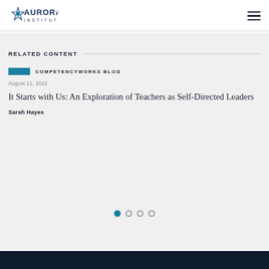Aurora Institute
RELATED CONTENT
COMPETENCYWORKS BLOG
August 11, 2022
It Starts with Us: An Exploration of Teachers as Self-Directed Leaders
Sarah Hayes